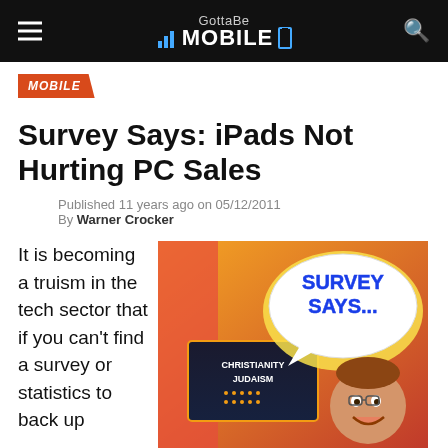GottaBe Mobile
MOBILE
Survey Says: iPads Not Hurting PC Sales
Published 11 years ago on 05/12/2011
By Warner Crocker
It is becoming a truism in the tech sector that if you can't find a survey or statistics to back up
[Figure (illustration): Cartoon illustration of a man smiling with a speech bubble reading 'SURVEY SAYS...' in bold blue text, with a game show board in the background showing 'CHRISTIANITY JUDAISM']